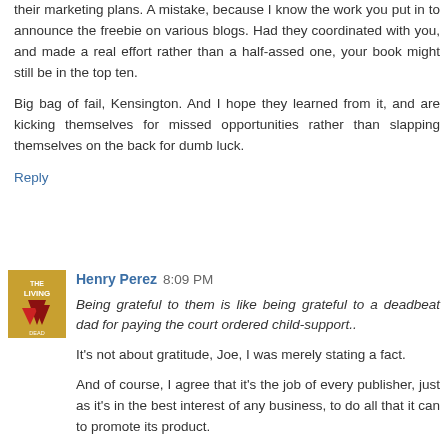their marketing plans. A mistake, because I know the work you put in to announce the freebie on various blogs. Had they coordinated with you, and made a real effort rather than a half-assed one, your book might still be in the top ten.
Big bag of fail, Kensington. And I hope they learned from it, and are kicking themselves for missed opportunities rather than slapping themselves on the back for dumb luck.
Reply
Henry Perez 8:09 PM
Being grateful to them is like being grateful to a deadbeat dad for paying the court ordered child-support..
It's not about gratitude, Joe, I was merely stating a fact.
And of course, I agree that it's the job of every publisher, just as it's in the best interest of any business, to do all that it can to promote its product.